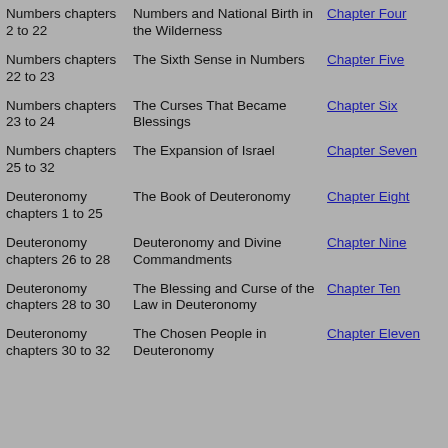| Scripture | Topic | Link |
| --- | --- | --- |
| Numbers chapters 2 to 22 | Numbers and National Birth in the Wilderness | Chapter Four |
| Numbers chapters 22 to 23 | The Sixth Sense in Numbers | Chapter Five |
| Numbers chapters 23 to 24 | The Curses That Became Blessings | Chapter Six |
| Numbers chapters 25 to 32 | The Expansion of Israel | Chapter Seven |
| Deuteronomy chapters 1 to 25 | The Book of Deuteronomy | Chapter Eight |
| Deuteronomy chapters 26 to 28 | Deuteronomy and Divine Commandments | Chapter Nine |
| Deuteronomy chapters 28 to 30 | The Blessing and Curse of the Law in Deuteronomy | Chapter Ten |
| Deuteronomy chapters 30 to 32 | The Chosen People in Deuteronomy | Chapter Eleven |